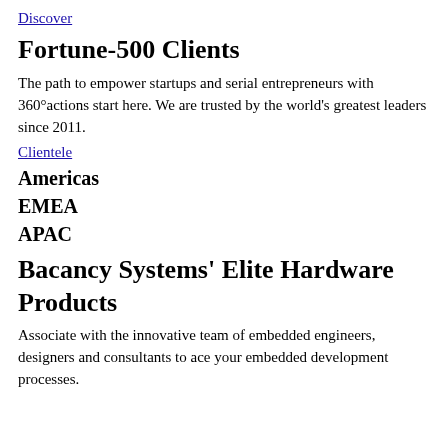Discover
Fortune-500 Clients
The path to empower startups and serial entrepreneurs with 360°actions start here. We are trusted by the world's greatest leaders since 2011.
Clientele
Americas
EMEA
APAC
Bacancy Systems' Elite Hardware Products
Associate with the innovative team of embedded engineers, designers and consultants to ace your embedded development processes.